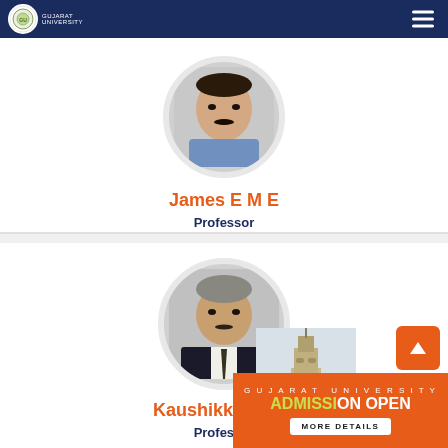Gujarat University
[Figure (photo): Circular profile photo of James E M E, a man in a blue checked shirt]
James E M E
Professor
[Figure (photo): Circular profile photo of Kaushikkumar, a man in a dark suit with striped tie]
Kaushikkumar C
Professor
[Figure (photo): Gujarat University tower/clock tower building]
GUJARAT UNIVERSITY
ADMISSION OPEN
MORE DETAILS